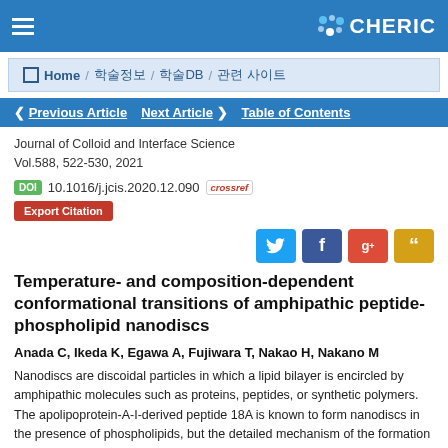CHERIC
Home / 학술정보 / 학술DB / 관련 사이트
◀ Previous Article   Next Article ▶   Table of Contents
Journal of Colloid and Interface Science
Vol.588, 522-530, 2021
DOI 10.1016/j.jcis.2020.12.090
Export Citation
Temperature- and composition-dependent conformational transitions of amphipathic peptide-phospholipid nanodiscs
Anada C, Ikeda K, Egawa A, Fujiwara T, Nakao H, Nakano M
Nanodiscs are discoidal particles in which a lipid bilayer is encircled by amphipathic molecules such as proteins, peptides, or synthetic polymers. The apolipoprotein-A-I-derived peptide 18A is known to form nanodiscs in the presence of phospholipids, but the detailed mechanism of the formation and deformation of these nanodiscs in response to changes in the surrounding environment is not well understood. Here, we investigated the temperature-